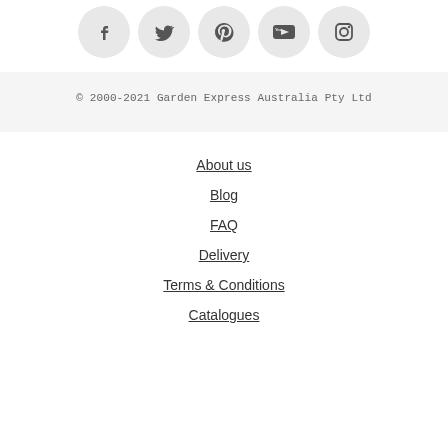[Figure (infographic): Row of 5 social media icons in light grey circles: Facebook, Twitter, Pinterest, YouTube, Instagram]
© 2000-2021 Garden Express Australia Pty Ltd
About us
Blog
FAQ
Delivery
Terms & Conditions
Catalogues